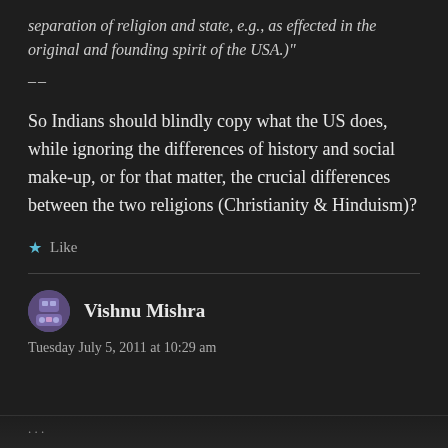separation of religion and state, e.g., as effected in the original and founding spirit of the USA.)"
––
So Indians should blindly copy what the US does, while ignoring the differences of history and social make-up, or for that matter, the crucial differences between the two religions (Christianity & Hinduism)?
★ Like
Vishnu Mishra
Tuesday July 5, 2011 at 10:29 am